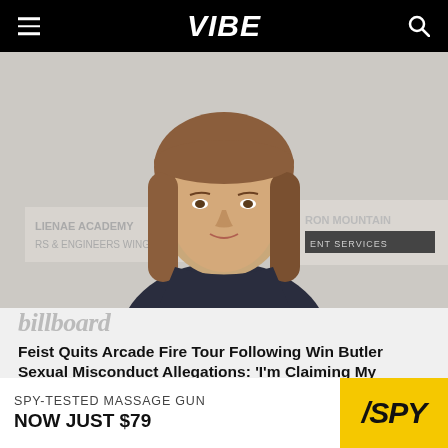VIBE
[Figure (photo): Woman with brown shoulder-length hair wearing a dark patterned top, photographed at an event with signage reading 'ACADEMY' and 'RON MOUNTAIN' in the background]
billboard
Feist Quits Arcade Fire Tour Following Win Butler Sexual Misconduct Allegations: ‘I’m Claiming My Responsibility’
4 HRS AGO
[Figure (advertisement): SPY advertisement: SPY-TESTED MASSAGE GUN / NOW JUST $79 with yellow SPY logo]